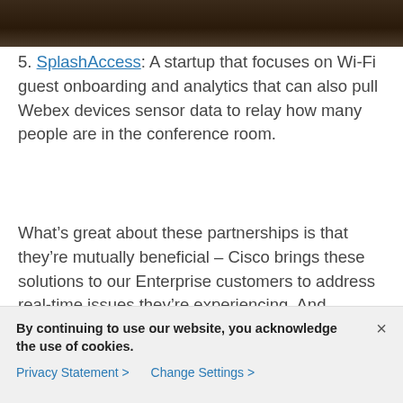[Figure (photo): Partial photo strip at top of page showing dark brownish image, appears to be a cropped photograph]
5. SplashAccess: A startup that focuses on Wi-Fi guest onboarding and analytics that can also pull Webex devices sensor data to relay how many people are in the conference room.
What’s great about these partnerships is that they’re mutually beneficial – Cisco brings these solutions to our Enterprise customers to address real-time issues they’re experiencing. And together we make the future of work a much brighter, more efficient space to create in.
Being able to help connect the dots by bringing
By continuing to use our website, you acknowledge the use of cookies.
Privacy Statement > Change Settings >